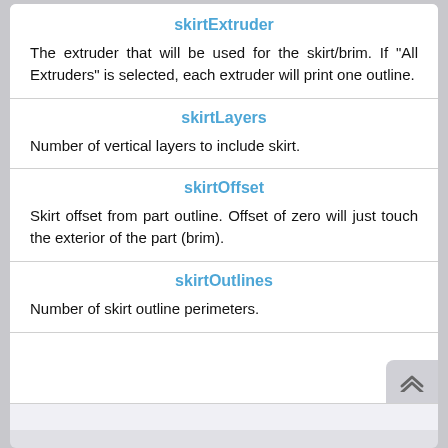skirtExtruder
The extruder that will be used for the skirt/brim. If "All Extruders" is selected, each extruder will print one outline.
skirtLayers
Number of vertical layers to include skirt.
skirtOffset
Skirt offset from part outline. Offset of zero will just touch the exterior of the part (brim).
skirtOutlines
Number of skirt outline perimeters.